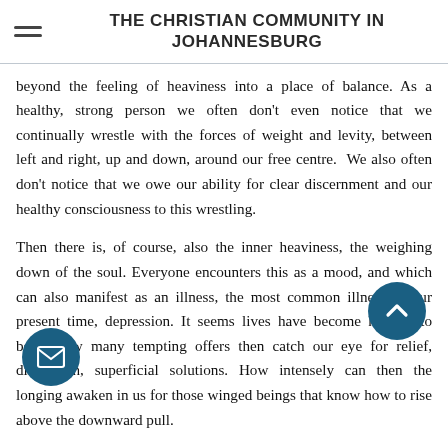THE CHRISTIAN COMMUNITY IN JOHANNESBURG
beyond the feeling of heaviness into a place of balance. As a healthy, strong person we often don't even notice that we continually wrestle with the forces of weight and levity, between left and right, up and down, around our free centre.  We also often don't notice that we owe our ability for clear discernment and our healthy consciousness to this wrestling.
Then there is, of course, also the inner heaviness, the weighing down of the soul. Everyone encounters this as a mood, and which can also manifest as an illness, the most common illness in our present time, depression. It seems lives have become heavier to bear. How many tempting offers then catch our eye for relief, distraction, superficial solutions. How intensely can then the longing awaken in us for those winged beings that know how to rise above the downward pull.